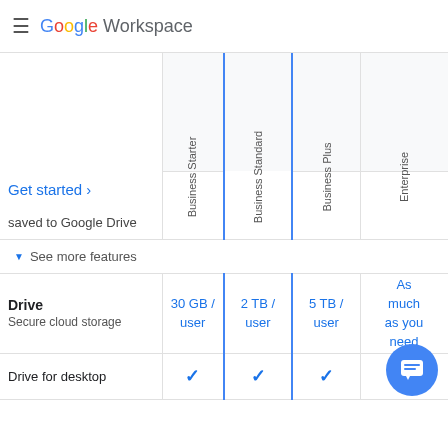Google Workspace
|  | Business Starter | Business Standard | Business Plus | Enterprise |
| --- | --- | --- | --- | --- |
| Get started › |  |  |  |  |
| saved to Google Drive |  |  |  |  |
| Drive
Secure cloud storage | 30 GB / user | 2 TB / user | 5 TB / user | As much as you need |
| Drive for desktop | ✓ | ✓ | ✓ | ✓ |
▼ See more features